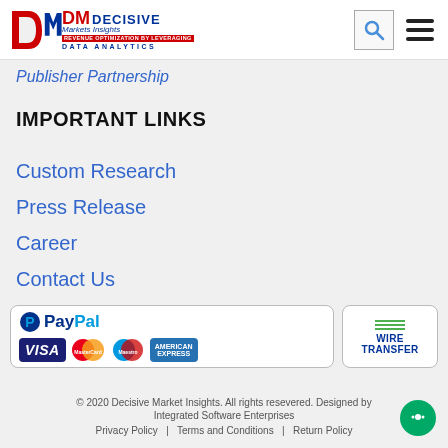Decisive Markets Insights - Logo, Search icon, Hamburger menu
Publisher Partnership
IMPORTANT LINKS
Custom Research
Press Release
Career
Contact Us
[Figure (logo): Payment methods: PayPal, VISA, MasterCard, Maestro, American Express, Wire Transfer]
© 2020 Decisive Market Insights. All rights resevered. Designed by Integrated Software Enterprises
Privacy Policy | Terms and Conditions | Return Policy